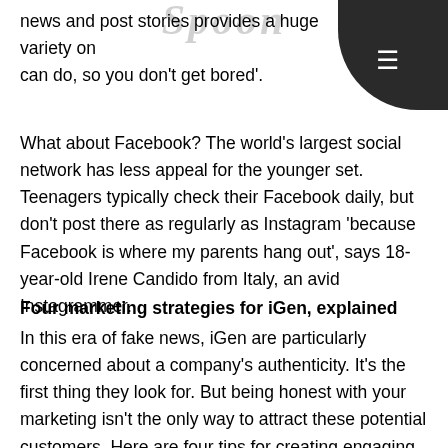news and post stories provides a huge variety on can do, so you don't get bored'.
What about Facebook? The world's largest social network has less appeal for the younger set. Teenagers typically check their Facebook daily, but don't post there as regularly as Instagram 'because Facebook is where my parents hang out', says 18-year-old Irene Candido from Italy, an avid Instagrammer.
Four marketing strategies for iGen, explained
In this era of fake news, iGen are particularly concerned about a company's authenticity. It's the first thing they look for. But being honest with your marketing isn't the only way to attract these potential customers. Here are four tips for creating engaging, iGen-friendly content.